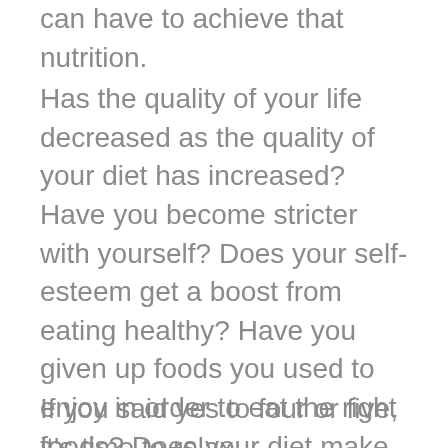can have to achieve that nutrition.
Has the quality of your life decreased as the quality of your diet has increased? Have you become stricter with yourself? Does your self-esteem get a boost from eating healthy? Have you given up foods you used to enjoy in order to eat the right foods? Does your diet make it difficult for you to eat out distancing yourself from family and friends? Do you feel guilty when you stray? Do you feel at peace with yourself and in total control when you eat healthy?
If you said yes to four or five, it's time to relax.